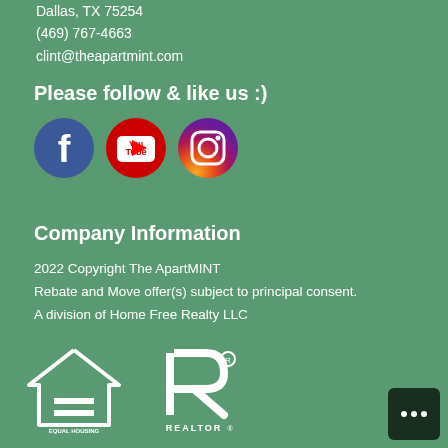Dallas, TX 75254
(469) 767-4663
clint@theapartmint.com
Please follow & like us :)
[Figure (logo): Facebook, YouTube, and Instagram social media icons]
Company Information
2022 Copyright The ApartMINT
Rebate and Move offer(s) subject to principal consent.
A division of Home Free Realty LLC
[Figure (logo): Equal Housing Opportunity logo and REALTOR logo]